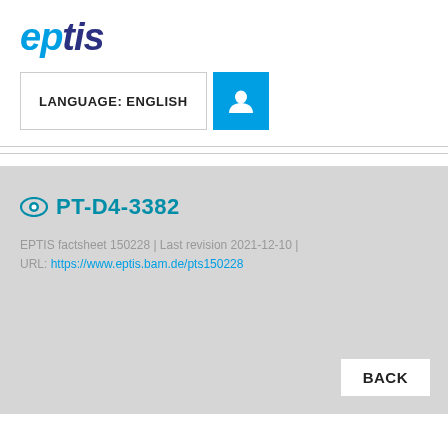[Figure (logo): EPTIS logo with 'ep' in light blue and 'tis' in dark navy, italic bold text]
LANGUAGE: ENGLISH
PT-D4-3382
EPTIS factsheet 150228 | Last revision 2021-12-10 | URL: https://www.eptis.bam.de/pts150228
BACK